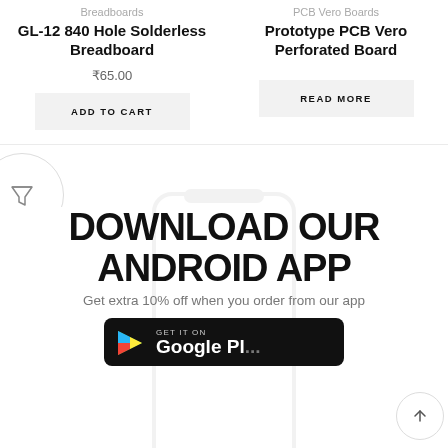Breadboards
GL-12 840 Hole Solderless Breadboard
₹65.00
ADD TO CART
PCB Vero Boards
Prototype PCB Vero Perforated Board
READ MORE
[Figure (illustration): Filter icon button (funnel shape) inside a circle on the left side]
[Figure (screenshot): Phone outline graphic in background behind Download Our Android App section]
DOWNLOAD OUR ANDROID APP
Get extra 10% off when you order from our app
[Figure (logo): Google Play Store button with GET IT ON / Google Pl... text and play icon]
[Figure (illustration): Scroll to top arrow button circle in bottom right]